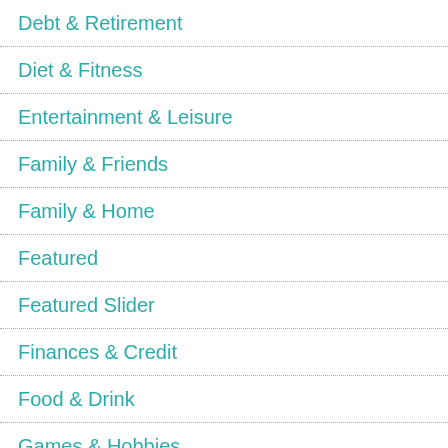Debt & Retirement
Diet & Fitness
Entertainment & Leisure
Family & Friends
Family & Home
Featured
Featured Slider
Finances & Credit
Food & Drink
Games & Hobbies
Green Living & DIY
Health & Beauty